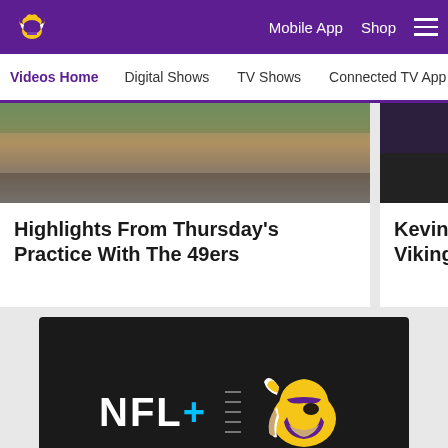Minnesota Vikings website header with logo, Mobile App, Shop navigation and hamburger menu
Videos Home | Digital Shows | TV Shows | Connected TV App | Ga...
Highlights From Thursday's Practice With The 49ers
Kevin O'C... Vikings T...
[Figure (screenshot): NFL+ Your Vikings advertisement banner with NFL+ logo and Minnesota Vikings helmet logo on dark background with text YOUR VIKINGS.]